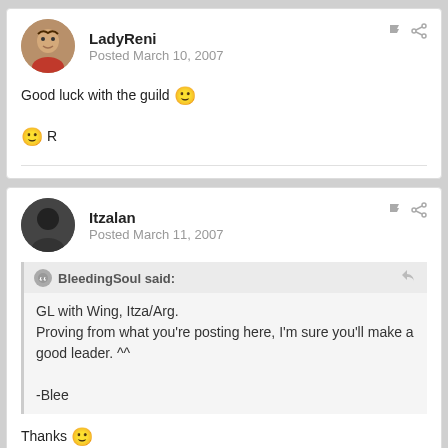LadyReni
Posted March 10, 2007
Good luck with the guild 🙂
🙂 R
Itzalan
Posted March 11, 2007
BleedingSoul said:
GL with Wing, Itza/Arg.
Proving from what you're posting here, I'm sure you'll make a good leader. ^^
-Blee
Thanks 🙂